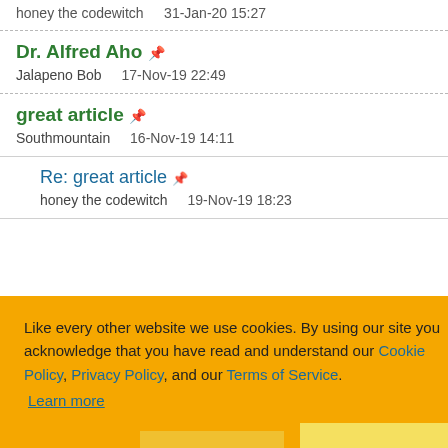honey the codewitch   31-Jan-20 15:27
Dr. Alfred Aho
Jalapeno Bob   17-Nov-19 22:49
great article
Southmountain   16-Nov-19 14:11
Re: great article
honey the codewitch   19-Nov-19 18:23
Like every other website we use cookies. By using our site you acknowledge that you have read and understand our Cookie Policy, Privacy Policy, and our Terms of Service. Learn more
Ask me later   Decline   Allow cookies
honey the codewitch   23-Nov-19 13:02